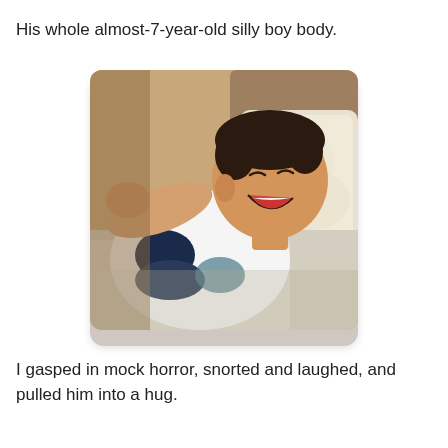His whole almost-7-year-old silly boy body.
[Figure (photo): A young boy, approximately 7 years old, lying on a bed laughing and pointing at the camera. He is wearing a white and navy blue shirt. There are pillows visible in the background. The photo has rounded corners.]
I gasped in mock horror, snorted and laughed, and pulled him into a hug.